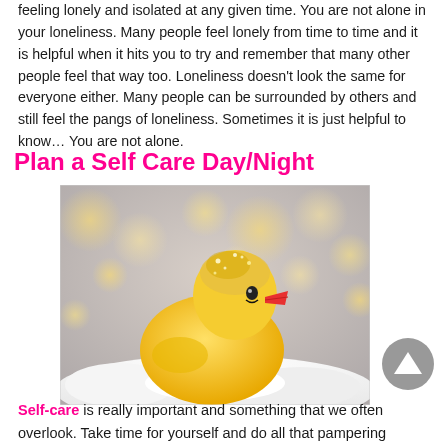feeling lonely and isolated at any given time. You are not alone in your loneliness. Many people feel lonely from time to time and it is helpful when it hits you to try and remember that many other people feel that way too. Loneliness doesn't look the same for everyone either. Many people can be surrounded by others and still feel the pangs of loneliness. Sometimes it is just helpful to know… You are not alone.
Plan a Self Care Day/Night
[Figure (photo): A yellow rubber duck with sparkles/glitter on its head, sitting in white foam/bubbles, with soft golden bokeh lights in the blurred background. The duck has a red beak and a winking eye.]
Self-care is really important and something that we often overlook. Take time for yourself and do all that pampering